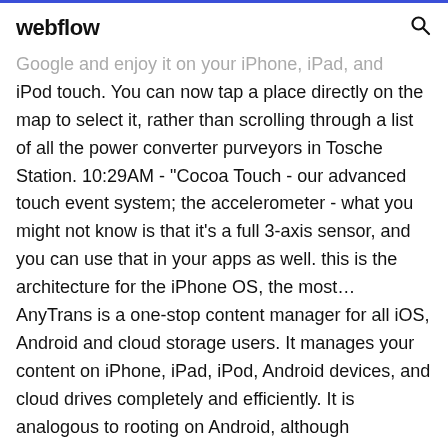webflow
Google and enjoy it on your iPhone, iPad, and iPod touch. You can now tap a place directly on the map to select it, rather than scrolling through a list of all the power converter purveyors in Tosche Station. 10:29AM - "Cocoa Touch - our advanced touch event system; the accelerometer - what you might not know is that it's a full 3-axis sensor, and you can use that in your apps as well. this is the architecture for the iPhone OS, the most... AnyTrans is a one-stop content manager for all iOS, Android and cloud storage users. It manages your content on iPhone, iPad, iPod, Android devices, and cloud drives completely and efficiently. It is analogous to rooting on Android, although